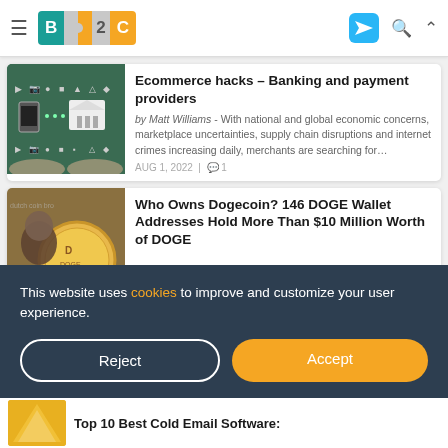B2C — Business 2 Community
[Figure (screenshot): Thumbnail image of hands holding chalkboard with e-commerce/banking icons]
Ecommerce hacks – Banking and payment providers
by Matt Williams - With national and global economic concerns, marketplace uncertainties, supply chain disruptions and internet crimes increasing daily, merchants are searching for…
AUG 1, 2022  | 💬 1
[Figure (photo): Thumbnail photo of Dogecoin crypto coin with person in background]
Who Owns Dogecoin? 146 DOGE Wallet Addresses Hold More Than $10 Million Worth of DOGE
This website uses cookies to improve and customize your user experience.
Reject
Accept
Top 10 Best Cold Email Software: